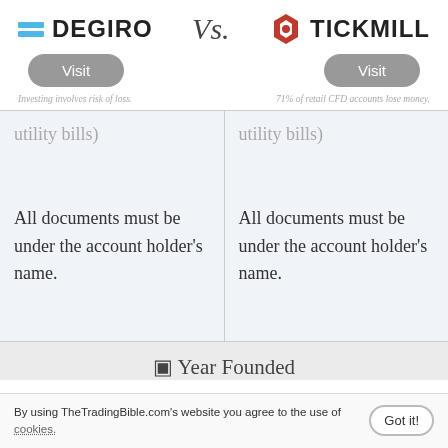[Figure (logo): DEGIRO logo with two blue horizontal bars and bold text DEGIRO]
Vs.
[Figure (logo): Tickmill logo with red hexagonal gear icon and bold text TICKMILL]
[Figure (other): Visit button for DEGIRO (grey pill-shaped button)]
[Figure (other): Visit button for Tickmill (grey pill-shaped button)]
Investing involves risk of loss.
71% of retail CFD accounts lose money.
utility bills)
utility bills)
All documents must be under the account holder's name.
All documents must be under the account holder's name.
🔲 Year Founded
By using TheTradingBible.com's website you agree to the use of cookies.